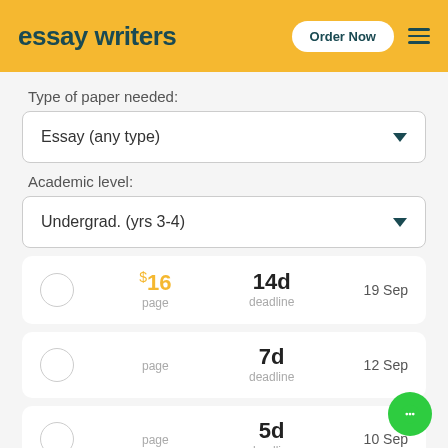essay writers | Order Now
Type of paper needed:
Essay (any type)
Academic level:
Undergrad. (yrs 3-4)
$16 page | 14d deadline | 19 Sep
page | 7d deadline | 12 Sep
page | 5d deadline | 10 Sep